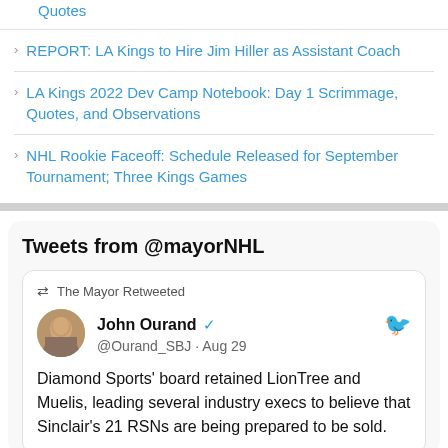Quotes
REPORT: LA Kings to Hire Jim Hiller as Assistant Coach
LA Kings 2022 Dev Camp Notebook: Day 1 Scrimmage, Quotes, and Observations
NHL Rookie Faceoff: Schedule Released for September Tournament; Three Kings Games
Tweets from @mayorNHL
The Mayor Retweeted
John Ourand @Ourand_SBJ · Aug 29
Diamond Sports' board retained LionTree and Muelis, leading several industry execs to believe that Sinclair's 21 RSNs are being prepared to be sold.